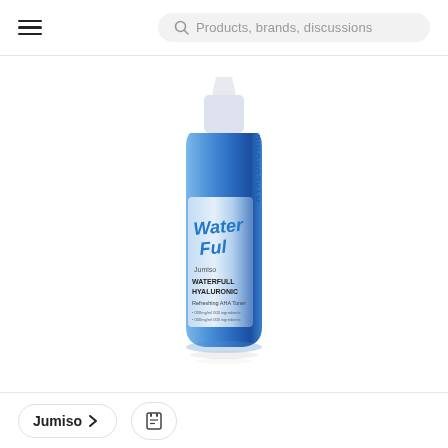Products, brands, discussions
[Figure (photo): A blue squeeze bottle of Jumiso Waterfull Hyaluronic toner with a white pointed tip cap. The bottle label reads 'Water Ful' in blue script, 'Jumiso WATERFULL HYALURONIC Refreshing AHA Toner' and 'HYALURONIC' vertically on the right side.]
Jumiso >  🔖